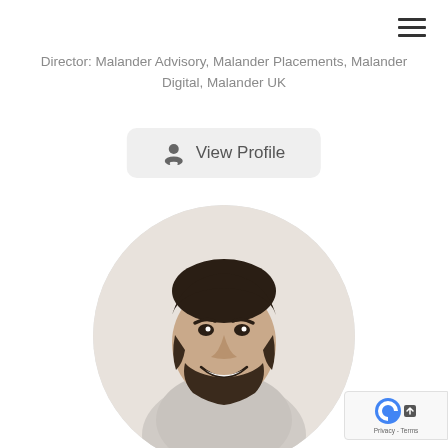Director: Malander Advisory, Malander Placements, Malander Digital, Malander UK
View Profile
[Figure (photo): Circular profile photo of a smiling young man with dark hair and beard, wearing a light grey shirt, against a light background]
Privacy - Terms